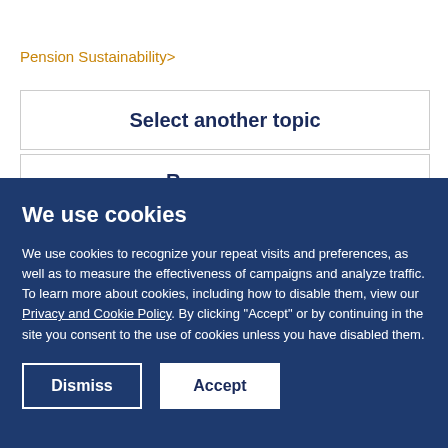Pension Sustainability>
Select another topic
We use cookies
We use cookies to recognize your repeat visits and preferences, as well as to measure the effectiveness of campaigns and analyze traffic. To learn more about cookies, including how to disable them, view our Privacy and Cookie Policy. By clicking "Accept" or by continuing in the site you consent to the use of cookies unless you have disabled them.
Dismiss
Accept